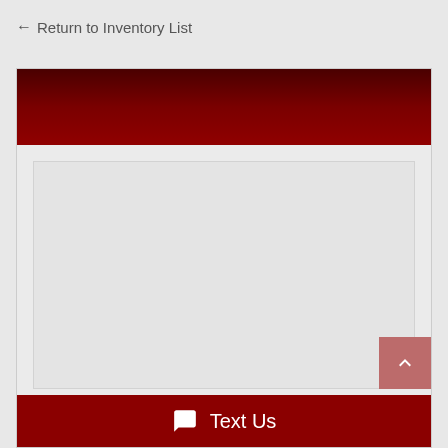← Return to Inventory List
[Figure (screenshot): Dark red/maroon header bar at the top of a vehicle inventory detail card]
[Figure (other): Grey empty image placeholder area in the card body]
Text Us